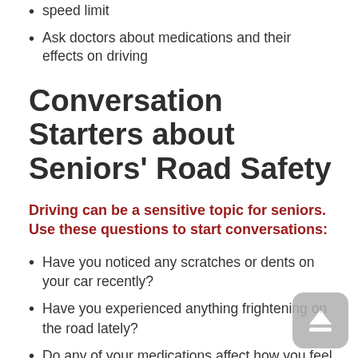speed limit
Ask doctors about medications and their effects on driving
Conversation Starters about Seniors' Road Safety
Driving can be a sensitive topic for seniors. Use these questions to start conversations:
Have you noticed any scratches or dents on your car recently?
Have you experienced anything frightening on the road lately?
Do any of your medications affect how you feel when driving?
Are there any signs on your usual route that have been...